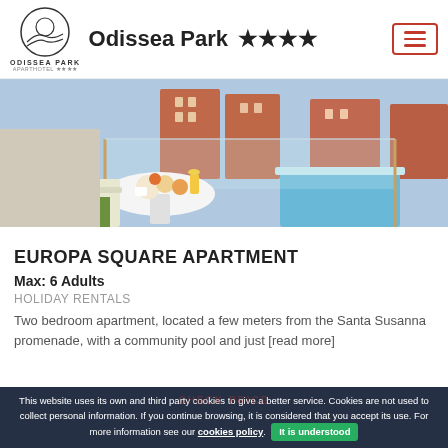Odissea Park ★★★★
[Figure (photo): Balcony terrace with white round table set for breakfast with fruit and juice, overlooking a swimming pool and residential apartment buildings in the background.]
EUROPA SQUARE APARTMENT
Max: 6 Adults
HOLIDAY RENTALS
Two bedroom apartment, located a few meters from the Santa Susanna promenade, with a community pool and just [read more]
This website uses its own and third party cookies to give a better service. Cookies are not used to collect personal information. If you continue browsing, it is considered that you accept its use. For more information see our cookies policy. It is understood